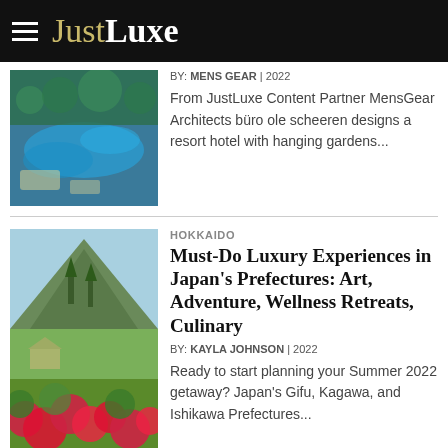JustLuxe
BY: MENS GEAR | 2022
From JustLuxe Content Partner MensGear Architects büro ole scheeren designs a resort hotel with hanging gardens...
HOKKAIDO
Must-Do Luxury Experiences in Japan's Prefectures: Art, Adventure, Wellness Retreats, Culinary
BY: KAYLA JOHNSON | 2022
Ready to start planning your Summer 2022 getaway? Japan's Gifu, Kagawa, and Ishikawa Prefectures...